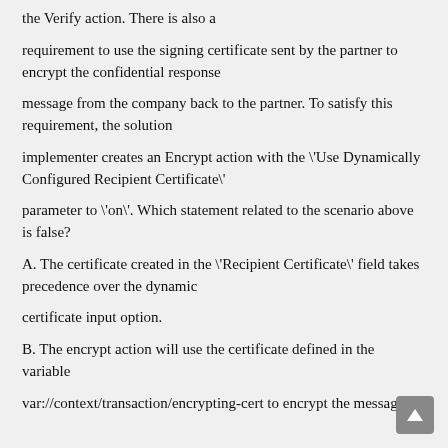the Verify action. There is also a
requirement to use the signing certificate sent by the partner to encrypt the confidential response
message from the company back to the partner. To satisfy this requirement, the solution
implementer creates an Encrypt action with the \'Use Dynamically Configured Recipient Certificate\'
parameter to \'on\'. Which statement related to the scenario above is false?
A. The certificate created in the \'Recipient Certificate\' field takes precedence over the dynamic
certificate input option.
B. The encrypt action will use the certificate defined in the variable
var://context/transaction/encrypting-cert to encrypt the message.